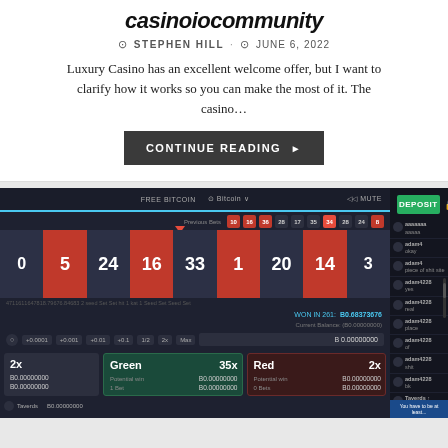casinoiocommunity
STEPHEN HILL · JUNE 6, 2022
Luxury Casino has an excellent welcome offer, but I want to clarify how it works so you can make the most of it. The casino...
CONTINUE READING ▶
[Figure (screenshot): Screenshot of a Bitcoin casino game interface showing a roulette-style number wheel with red and dark cells displaying numbers 5, 24, 16, 33, 1, 20, 14, 3. Interface shows betting options including Green 35x and Red 2x multipliers, balance fields, win amount of B0.68373676, and a chat panel on the right with a green DEPOSIT button.]